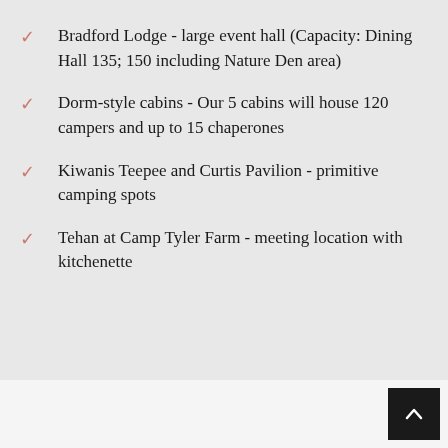Bradford Lodge - large event hall (Capacity: Dining Hall 135; 150 including Nature Den area)
Dorm-style cabins - Our 5 cabins will house 120 campers and up to 15 chaperones
Kiwanis Teepee and Curtis Pavilion - primitive camping spots
Tehan at Camp Tyler Farm - meeting location with kitchenette